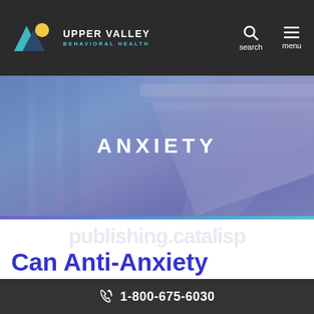UPPER VALLEY BEHAVIORAL HEALTH
[Figure (screenshot): Hero banner image with blurred blue and purple architectural interior background with the word ANXIETY centered in white bold text]
Can Anti-Anxiety Medication Help Ease Your Nerves?
1-800-675-6030